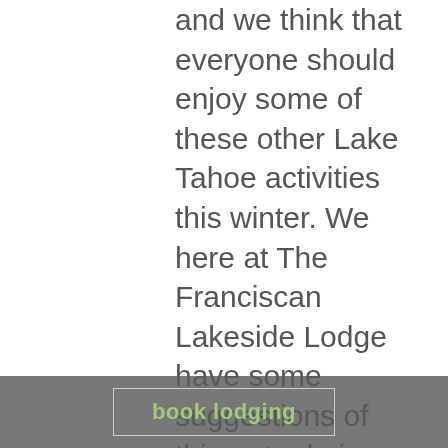and we think that everyone should enjoy some of these other Lake Tahoe activities this winter. We here at The Franciscan Lakeside Lodge have some suggestions of things to do in Tahoe that are not skiing. Sightseeing: Winter in Tahoe means snowy landscapes, fewer crowds, stunning sunsets, and calm water. Everything needed to have the perfect sightseeing adventure–take some photos, make some memories. Make a day of it and drive the 72 mile scenic drive around Lake Tahoe. Ice-Skating There are a few rinks in the Tahoe area, so put on some skates and do Tahoe on ice. Northstar has a rink with fire pits al